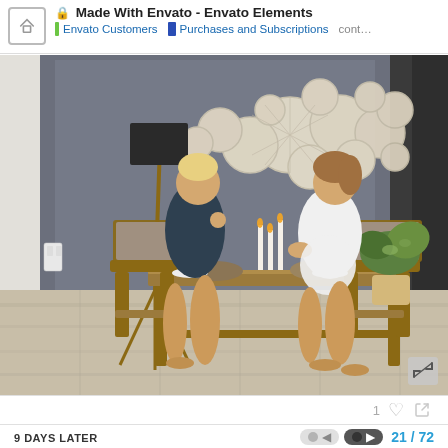Made With Envato - Envato Elements | Envato Customers | Purchases and Subscriptions cont...
[Figure (photo): Two women sitting at a wooden dining table in a modern interior with a gray accent wall decorated with circular white wall art. One woman wears dark clothing, the other white. A floor lamp stands to the left, a plant to the right. The table has candles, food and dishes on it.]
1
9 DAYS LATER   21 / 72